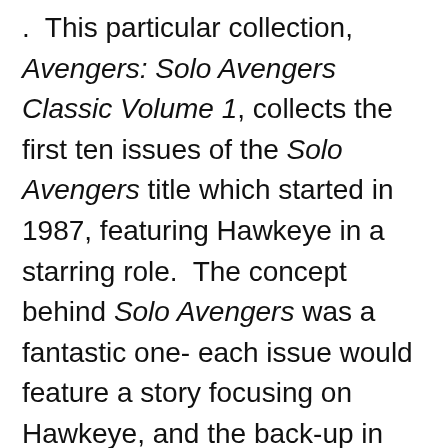.  This particular collection, Avengers: Solo Avengers Classic Volume 1, collects the first ten issues of the Solo Avengers title which started in 1987, featuring Hawkeye in a starring role.  The concept behind Solo Avengers was a fantastic one- each issue would feature a story focusing on Hawkeye, and the back-up in each issue would focus on a different member of the Avengers, typically a less well-known character who didn't have the benefit of his own solo title, like Captain America, Thor or Iron Man.  As a result, this is a really eclectic collection of stories, running the gamut in terms of quality, but on the